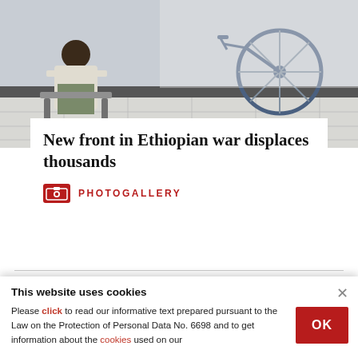[Figure (photo): Photo of a person sitting in a waiting area with a bicycle visible in the background]
New front in Ethiopian war displaces thousands
PHOTOGALLERY
DAILY SARAH
This website uses cookies
Please click to read our informative text prepared pursuant to the Law on the Protection of Personal Data No. 6698 and to get information about the cookies used on our